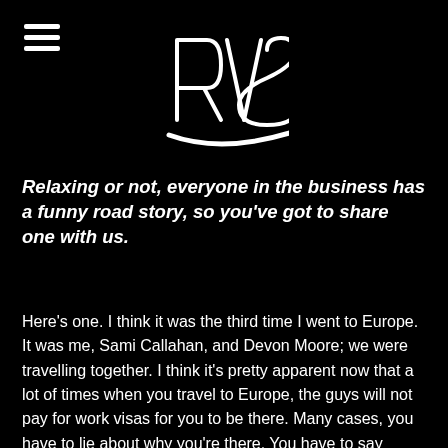RVS logo and menu icon
Relaxing or not, everyone in the business has a funny road story, so you've got to share one with us.
Here's one. I think it was the third time I went to Europe. It was me, Sami Callahan, and Devon Moore; we were travelling together. I think it's pretty apparent now that a lot of times when you travel to Europe, the guys will not pay for work visas for you to be there. Many cases, you have to lie about why you're there. You have to say you're visiting friends or on a school trip, whatever it is. So you dress up as much as a college kid as possible, but when you're with Sami Callahan and Devon Moore, it's tough to do that. Obviously, we got stopped at the border by border patrol. They put us in some room and came over to us forty-five minutes later, and the first thing the guy